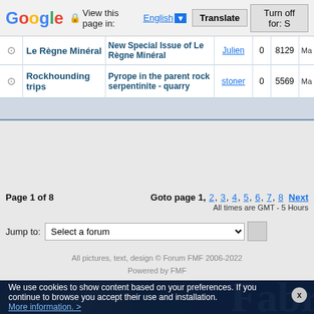Google View this page in: English [▼] Translate Turn off for: S
|  | Forum | Topic | Author | Replies | Views | Last post |
| --- | --- | --- | --- | --- | --- | --- |
| ⊙ | Le Règne Minéral | New Special Issue of Le Règne Minéral | Julien | 0 | 8129 | Ma |
| ⊙ | Rockhounding trips | Pyrope in the parent rock serpentinite - quarry | stoner | 0 | 5569 | Ma |
Page 1 of 8   Goto page 1, 2, 3, 4, 5, 6, 7, 8  Next
All times are GMT - 5 Hours
Jump to: Select a forum
All pictures, text, design © Forum FMF 2006-2022
Powered by FMF
[Figure (photo): Dark advertisement banner showing mineral crystals on left and partial text 'Fabr' on right in white serif font]
We use cookies to show content based on your preferences. If you continue to browse you accept their use and installation. More information. >